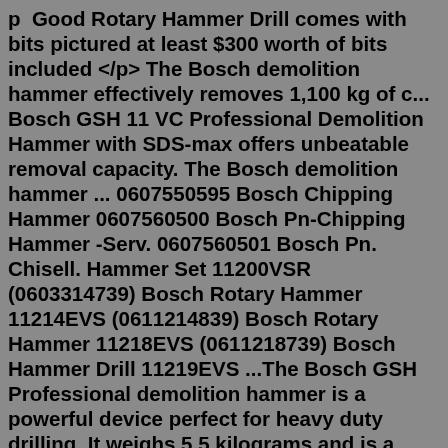p Good Rotary Hammer Drill comes with bits pictured at least $300 worth of bits included </p> The Bosch demolition hammer effectively removes 1,100 kg of c... Bosch GSH 11 VC Professional Demolition Hammer with SDS-max offers unbeatable removal capacity. The Bosch demolition hammer ... 0607550595 Bosch Chipping Hammer 0607560500 Bosch Pn-Chipping Hammer -Serv. 0607560501 Bosch Pn. Chisell. Hammer Set 11200VSR (0603314739) Bosch Rotary Hammer 11214EVS (0611214839) Bosch Rotary Hammer 11218EVS (0611218739) Bosch Hammer Drill 11219EVS ...The Bosch GSH Professional demolition hammer is a powerful device perfect for heavy duty drilling. It weighs 5.5 kilograms and is a chipping hammer that operates at a rated speed of up to 2750 BPM. The powerful machine clocks in at 1025 W for maximum hammering ability and it also comes with a warranty of up to a year. Jul 03, 2022 · This Bosch chipping hammer features a variable speed dial, padded rear handle, as well as full positioning side handle to